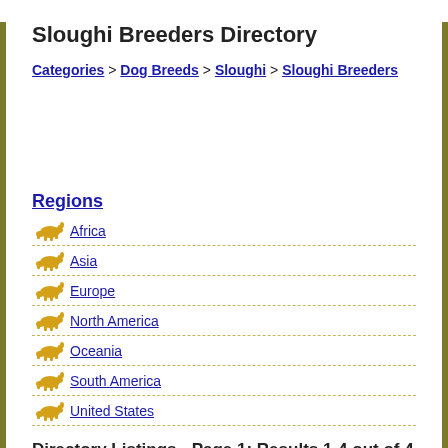Sloughi Breeders Directory
Categories > Dog Breeds > Sloughi > Sloughi Breeders
Regions
Africa
Asia
Europe
North America
Oceania
South America
United States
Directory Listings - Page 1: Results 1-4 out of 4